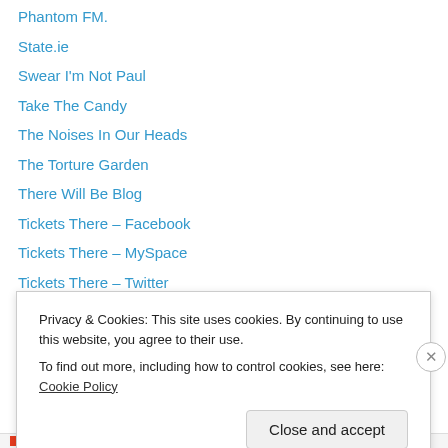Phantom FM.
State.ie
Swear I'm Not Paul
Take The Candy
The Noises In Our Heads
The Torture Garden
There Will Be Blog
Tickets There – Facebook
Tickets There – MySpace
Tickets There – Twitter
Tickets There RECORDS
Twenty Major
Whelans
WordPress.com
Privacy & Cookies: This site uses cookies. By continuing to use this website, you agree to their use.
To find out more, including how to control cookies, see here: Cookie Policy
Close and accept